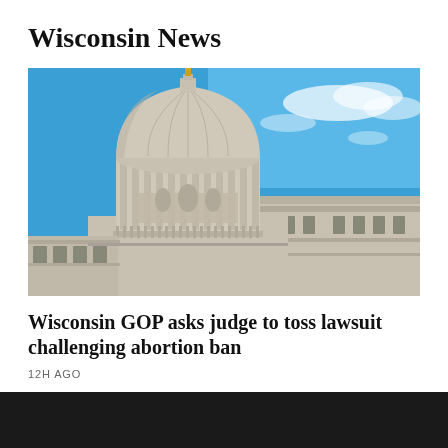Wisconsin News
[Figure (photo): Exterior view of the Wisconsin State Capitol building dome against a bright blue sky with scattered clouds. The neoclassical dome with its ornate columns and gold-topped statue is prominently featured, with the building's ornate stonework and colonnades extending to the right.]
Wisconsin GOP asks judge to toss lawsuit challenging abortion ban
12H AGO